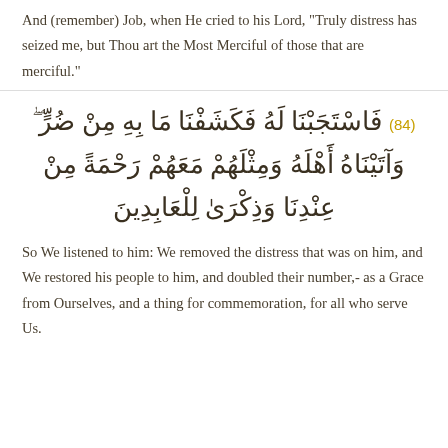And (remember) Job, when He cried to his Lord, "Truly distress has seized me, but Thou art the Most Merciful of those that are merciful."
فَاسْتَجَبْنَا لَهُ فَكَشَفْنَا مَا بِهِ مِنْ ضُرٍّ ۖ وَآتَيْنَاهُ أَهْلَهُ وَمِثْلَهُمْ مَعَهُمْ رَحْمَةً مِنْ عِنْدِنَا وَذِكْرَىٰ لِلْعَابِدِينَ (84)
So We listened to him: We removed the distress that was on him, and We restored his people to him, and doubled their number,- as a Grace from Ourselves, and a thing for commemoration, for all who serve Us.